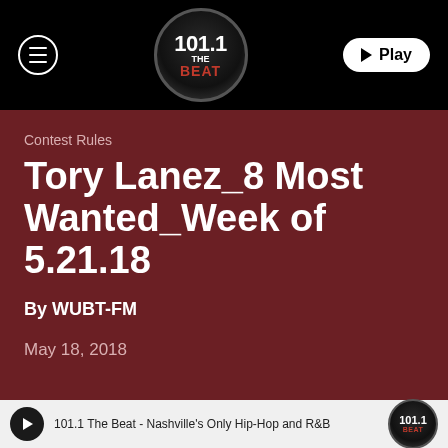[Figure (logo): 101.1 The Beat radio station logo in circular badge with navigation bar, hamburger menu icon and Play button on black background]
Contest Rules
Tory Lanez_8 Most Wanted_Week of 5.21.18
By WUBT-FM
May 18, 2018
101.1 The Beat - Nashville's Only Hip-Hop and R&B